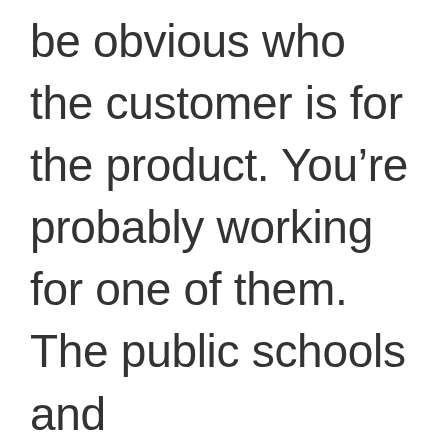be obvious who the customer is for the product. You're probably working for one of them. The public schools and